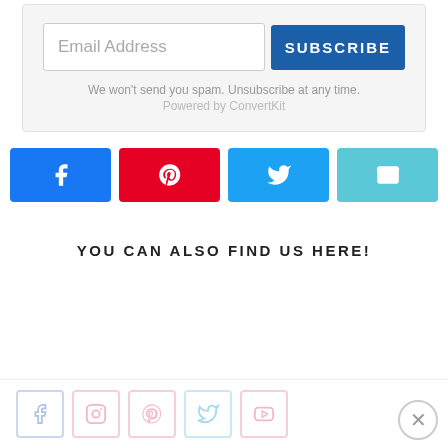[Figure (screenshot): Email subscribe form with an email address input field and a blue SUBSCRIBE button]
We won't send you spam. Unsubscribe at any time.
Powered by ConvertKit
[Figure (infographic): Four social share buttons: Facebook (blue), Pinterest (red), Twitter (blue), Email (light blue)]
YOU CAN ALSO FIND US HERE!
[Figure (infographic): Social media icons row: Facebook, Instagram, Pinterest, Twitter, YouTube]